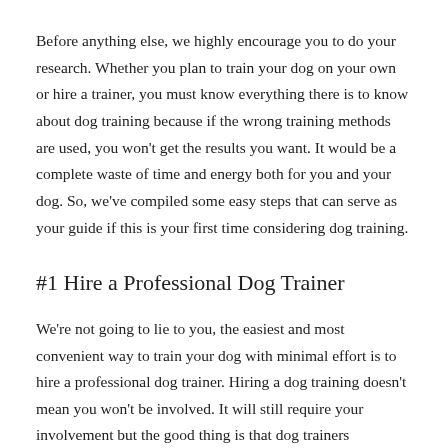Before anything else, we highly encourage you to do your research. Whether you plan to train your dog on your own or hire a trainer, you must know everything there is to know about dog training because if the wrong training methods are used, you won't get the results you want. It would be a complete waste of time and energy both for you and your dog. So, we've compiled some easy steps that can serve as your guide if this is your first time considering dog training.
#1 Hire a Professional Dog Trainer
We're not going to lie to you, the easiest and most convenient way to train your dog with minimal effort is to hire a professional dog trainer. Hiring a dog training doesn't mean you won't be involved. It will still require your involvement but the good thing is that dog trainers